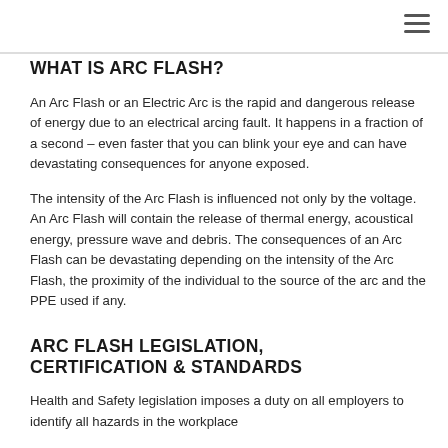WHAT IS ARC FLASH?
An Arc Flash or an Electric Arc is the rapid and dangerous release of energy due to an electrical arcing fault. It happens in a fraction of a second – even faster that you can blink your eye and can have devastating consequences for anyone exposed.
The intensity of the Arc Flash is influenced not only by the voltage. An Arc Flash will contain the release of thermal energy, acoustical energy, pressure wave and debris. The consequences of an Arc Flash can be devastating depending on the intensity of the Arc Flash, the proximity of the individual to the source of the arc and the PPE used if any.
ARC FLASH LEGISLATION, CERTIFICATION & STANDARDS
Health and Safety legislation imposes a duty on all employers to identify all hazards in the workplace